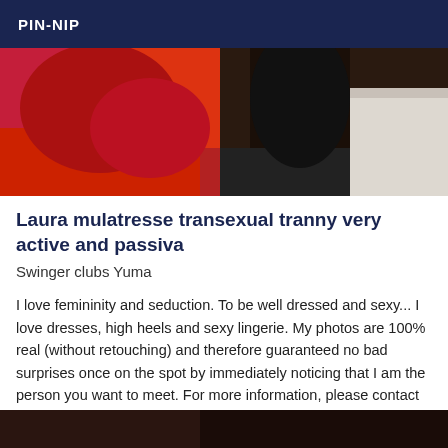PIN-NIP
[Figure (photo): Photo showing a person in red clothing against a textured background]
Laura mulatresse transexual tranny very active and passiva
Swinger clubs Yuma
I love femininity and seduction. To be well dressed and sexy... I love dresses, high heels and sexy lingerie. My photos are 100% real (without retouching) and therefore guaranteed no bad surprises once on the spot by immediately noticing that I am the person you want to meet. For more information, please contact me directly by phone. (I do not answer to hidden calls and **s ) I receive only by appointment, taken the same day, 30 minutes before.
[Figure (photo): Partially visible photo at the bottom of the page]